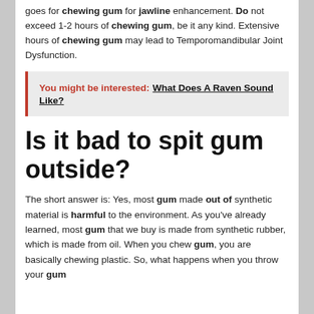goes for chewing gum for jawline enhancement. Do not exceed 1-2 hours of chewing gum, be it any kind. Extensive hours of chewing gum may lead to Temporomandibular Joint Dysfunction.
You might be interested: What Does A Raven Sound Like?
Is it bad to spit gum outside?
The short answer is: Yes, most gum made out of synthetic material is harmful to the environment. As you've already learned, most gum that we buy is made from synthetic rubber, which is made from oil. When you chew gum, you are basically chewing plastic. So, what happens when you throw your gum